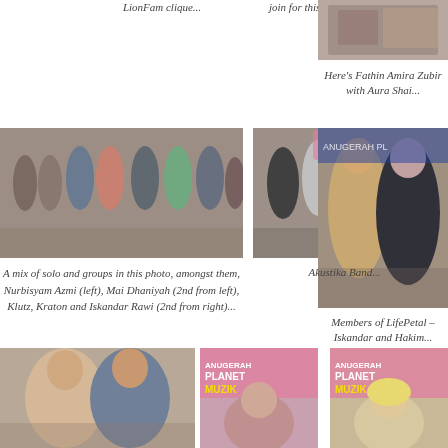LionFam clique...
join for this group pic as well...
[Figure (photo): Group photo top right]
Here's Fathin Amira Zubir with Aura Shai...
[Figure (photo): Group photo of solo and group artists at event]
[Figure (photo): Akustika Band group photo]
[Figure (photo): Members of LifePetal – Iskandar and Hakim]
A mix of solo and groups in this photo, amongst them, Nurbisyam Azmi (left), Mai Dhaniyah (2nd from left), Klutz, Kraton and Iskandar Rawi (2nd from right)...
Akustika Band...
Members of LifePetal – Iskandar and Hakim...
[Figure (photo): Couple portrait at event bottom left]
[Figure (photo): Female artist at Anugerah Planet Muzik backdrop]
[Figure (photo): Blonde female artist at Anugerah Planet Muzik backdrop]